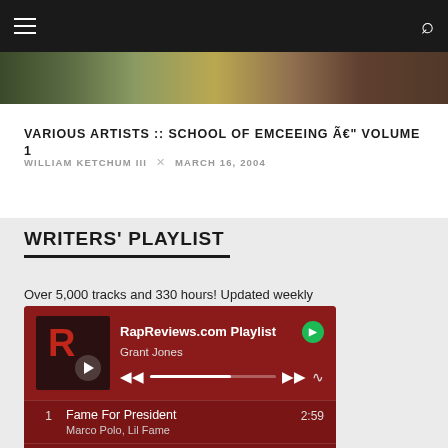≡  🔍
[Figure (photo): Hero banner image strip showing artists in a blurred/overlapping collage style]
VARIOUS ARTISTS :: SCHOOL OF EMCEEING Ã€" VOLUME 1
WILLIAM KETCHUM III  ✕  MARCH 16, 2004
WRITERS' PLAYLIST
Over 5,000 tracks and 330 hours! Updated weekly
[Figure (screenshot): Spotify embedded player widget showing RapReviews.com Playlist by Grant Jones with track list: 1. Fame For President - Marco Polo, Lil Fame (2:59); 2. Not for Nothing (2:33)]